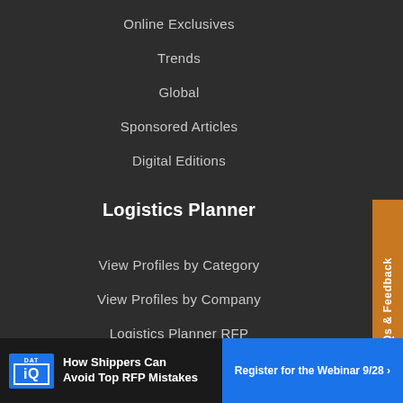Online Exclusives
Trends
Global
Sponsored Articles
Digital Editions
Logistics Planner
View Profiles by Category
View Profiles by Company
Logistics Planner RFP
Send RFP/RFI
See all RFPs
3PL RFP
FAQs & Feedback
How Shippers Can Avoid Top RFP Mistakes
Register for the Webinar 9/28 ›